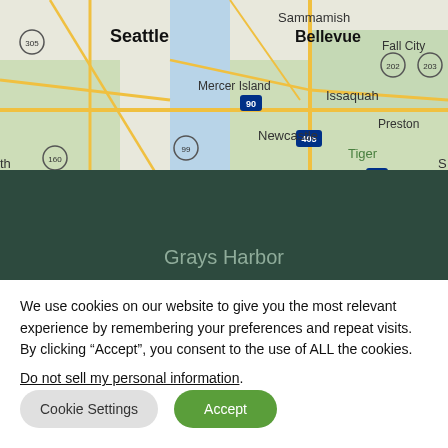[Figure (map): Google Maps screenshot showing Seattle, Bellevue, Mercer Island, Newcastle, Sammamish, Issaquah, Preston, Tiger Mountain, Fall City area with roads and water bodies visible. Route markers include 305, 99, 160, 90, 405, 202, 203.]
Grays Harbor
We use cookies on our website to give you the most relevant experience by remembering your preferences and repeat visits. By clicking “Accept”, you consent to the use of ALL the cookies.
Do not sell my personal information.
Cookie Settings
Accept